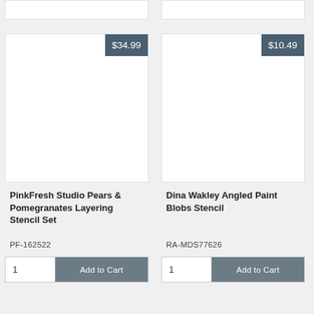[Figure (photo): Partial top of two product cards (cropped), white backgrounds with border]
[Figure (photo): Product image area for PinkFresh Studio Pears & Pomegranates Layering Stencil Set, white/blank]
$34.99
PinkFresh Studio Pears & Pomegranates Layering Stencil Set
PF-162522
1
Add to Cart
[Figure (photo): Product image area for Dina Wakley Angled Paint Blobs Stencil, white/blank]
$10.49
Dina Wakley Angled Paint Blobs Stencil
RA-MDS77626
1
Add to Cart